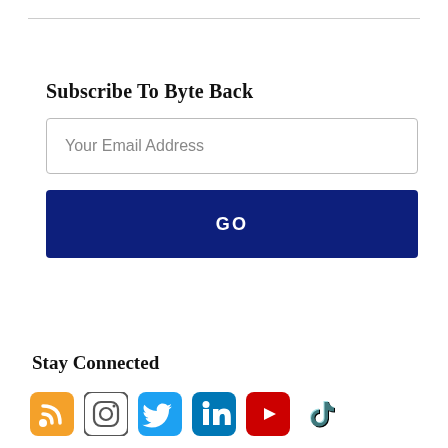Subscribe To Byte Back
Your Email Address
GO
Stay Connected
[Figure (infographic): Row of social media icons: RSS (orange), Instagram (circle outline), Twitter (blue bird), LinkedIn (blue), YouTube (red), TikTok (dark)]